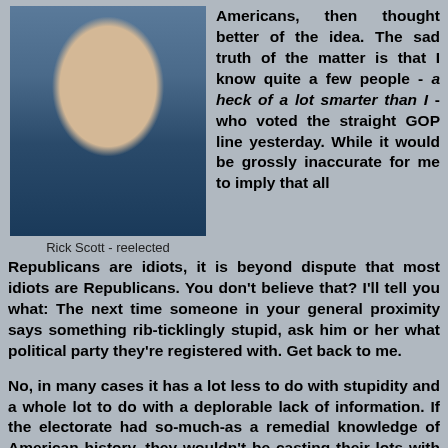[Figure (photo): Photo of Rick Scott, a bald white man in a suit and striped tie, appearing to speak or testify]
Rick Scott - reelected
Americans, then thought better of the idea. The sad truth of the matter is that I know quite a few people - a heck of a lot smarter than I - who voted the straight GOP line yesterday. While it would be grossly inaccurate for me to imply that all Republicans are idiots, it is beyond dispute that most idiots are Republicans. You don't believe that? I'll tell you what: The next time someone in your general proximity says something rib-ticklingly stupid, ask him or her what political party they're registered with. Get back to me.
No, in many cases it has a lot less to do with stupidity and a whole lot to do with a deplorable lack of information. If the electorate had so-much-as a remedial knowledge of American history, they wouldn't be casting their lots with that disgusting party. Consider these unconscionable facts: There were more Republicans